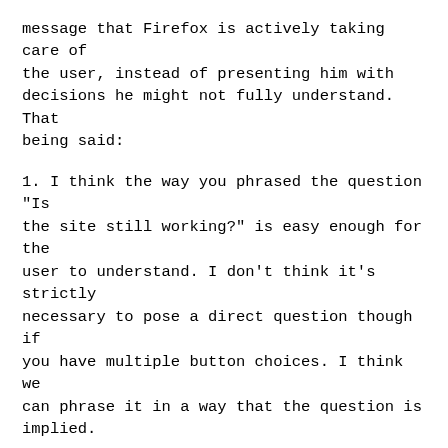message that Firefox is actively taking care of the user, instead of presenting him with decisions he might not fully understand. That being said:
1. I think the way you phrased the question "Is the site still working?" is easy enough for the user to understand. I don't think it's strictly necessary to pose a direct question though if you have multiple button choices. I think we can phrase it in a way that the question is implied.
2. We all agree that we want to dissuade the user from loading insecure content. I've tried to do that by arguing for a more subtle button treatment so that it doesn't scream out as the action we want the user to take.
Adding "Keep Blocking" as the default option is